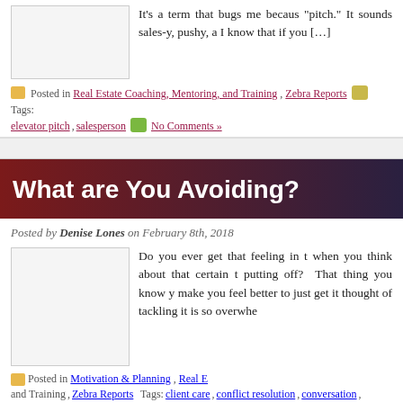It's a term that bugs me because "pitch." It sounds sales-y, pushy, a I know that if you [...]
Posted in Real Estate Coaching, Mentoring, and Training, Zebra Reports Tags: elevator pitch, salesperson No Comments »
What are You Avoiding?
Posted by Denise Lones on February 8th, 2018
Do you ever get that feeling in t when you think about that certain t putting off? That thing you know y make you feel better to just get it thought of tackling it is so overwhe
Posted in Motivation & Planning, Real E and Training, Zebra Reports Tags: client care, conflict resolution, conversation, dealing list, personal care, positive energy, uncomfortable No Comments »